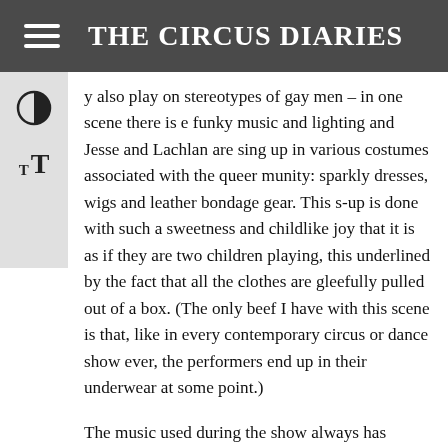THE CIRCUS DIARIES
y also play on stereotypes of gay men – in one scene there is e funky music and lighting and Jesse and Lachlan are sing up in various costumes associated with the queer munity: sparkly dresses, wigs and leather bondage gear. This s-up is done with such a sweetness and childlike joy that it is as if they are two children playing, this underlined by the fact that all the clothes are gleefully pulled out of a box. (The only beef I have with this scene is that, like in every contemporary circus or dance show ever, the performers end up in their underwear at some point.)
The music used during the show always has lyrics, usually lyrics that relate to the mood of that particular scene. Although I can understand the coherence of this I feel as though it is red on red, almost as if the performers don't trust their actions on stage to speak for themselves so the music needs to be there, just to make the message absolutely clear. The effect created is too obvious for my taste.